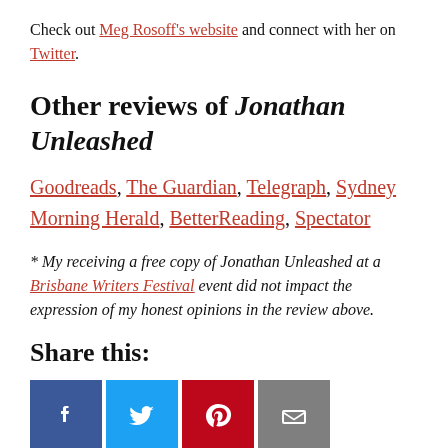Check out Meg Rosoff's website and connect with her on Twitter.
Other reviews of Jonathan Unleashed
Goodreads, The Guardian, Telegraph, Sydney Morning Herald, BetterReading, Spectator
* My receiving a free copy of Jonathan Unleashed at a Brisbane Writers Festival event did not impact the expression of my honest opinions in the review above.
Share this:
[Figure (other): Four social sharing buttons: Facebook (blue), Twitter (light blue), Pinterest (red), Email (grey)]